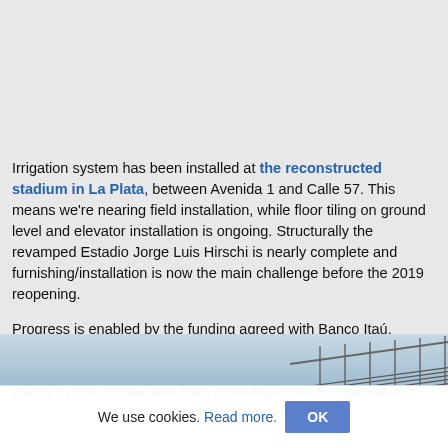Irrigation system has been installed at the reconstructed stadium in La Plata, between Avenida 1 and Calle 57. This means we're nearing field installation, while floor tiling on ground level and elevator installation is ongoing. Structurally the revamped Estadio Jorge Luis Hirschi is nearly complete and furnishing/installation is now the main challenge before the 2019 reopening.
Progress is enabled by the funding agreed with Banco Itaú, amounting to $5 million. But construction aside for a moment, Estudiantes de La Plata have taken some effort to make their stadium more sustainable than other Argentine football venues.
[Figure (photo): Bottom strip of a photo showing a stadium roof/structure against a light sky]
We use cookies. Read more. OK